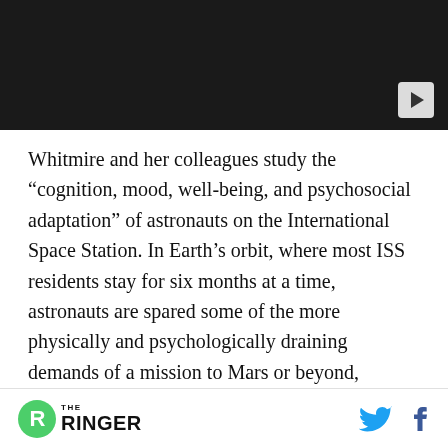[Figure (screenshot): Dark video player placeholder with a play button in the bottom-right corner]
Whitmire and her colleagues study the “cognition, mood, well-being, and psychosocial adaptation” of astronauts on the International Space Station. In Earth’s orbit, where most ISS residents stay for six months at a time, astronauts are spared some of the more physically and psychologically draining demands of a mission to Mars or beyond, including years-long mission durations, cramped quarters, delayed communication with Earth, and
THE RINGER